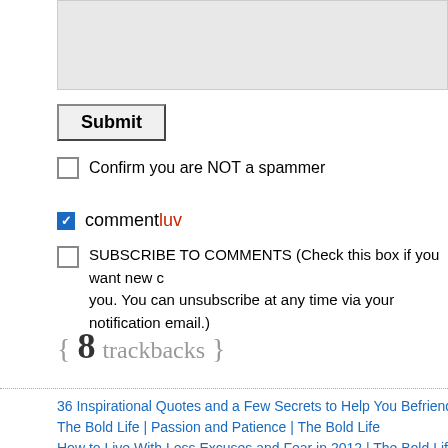[Figure (screenshot): Gray textarea input box (top portion visible)]
Submit
Confirm you are NOT a spammer
commentluv
SUBSCRIBE TO COMMENTS (Check this box if you want new c… you. You can unsubscribe at any time via your notification email.)
{ 8 trackbacks }
36 Inspirational Quotes and a Few Secrets to Help You Befriend Fea…
The Bold Life | Passion and Patience | The Bold Life
How to Live With Less Excuses and Fear in 2012 | The Bold Life
75 Tips to Live Bold When Fear Grips Your Mind | The Bold Life
35 Top Bloggers and Writers Share on Fearless Living | The Bold Life
On Fear | Wind Against Current
Fear « livinglearning
4 Mindshifts on Fear You Need to Have | The Bold Life